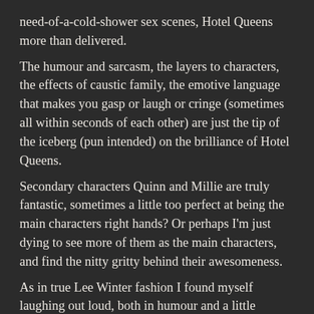need-of-a-cold-shower sex scenes, Hotel Queens more than delivered. The humour and sarcasm, the layers to characters, the effects of caustic family, the emotive language that makes you gasp or laugh or cringe (sometimes all within seconds of each other) are just the tip of the iceberg (pun intended) on the brilliance of Hotel Queens. Secondary characters Quinn and Millie are truly fantastic, sometimes a little too perfect at being the main characters right hands? Or perhaps I'm just dying to see more of them as the main characters, and find the nitty gritty behind their awesomeness. As in true Lee Winter fashion I found myself laughing out loud, both in humour and a little facepalming at times.